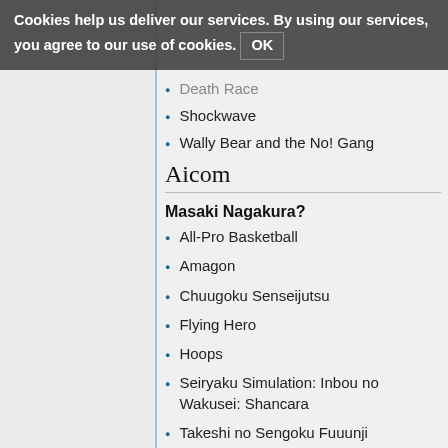Cookies help us deliver our services. By using our services, you agree to our use of cookies. OK
Death Race
Shockwave
Wally Bear and the No! Gang
Aicom
Masaki Nagakura?
All-Pro Basketball
Amagon
Chuugoku Senseijutsu
Flying Hero
Hoops
Seiryaku Simulation: Inbou no Wakusei: Shancara
Takeshi no Sengoku Fuuunji
Ultimate Basketball
Wurm: Journey to the Center of the Earth (?)